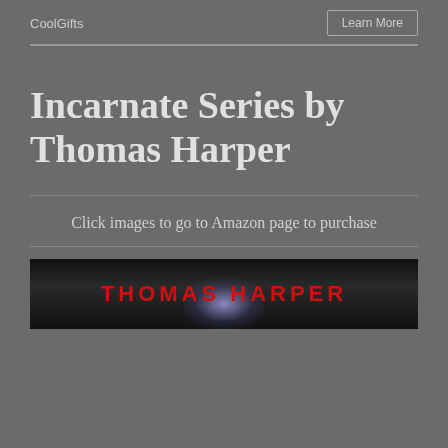CoolGifts  Learn More
Incarnate Series by Thomas Harper
Click images to go to Amazon page to purchase
[Figure (photo): Book cover showing 'THOMAS HARPER' text in red letters on a dark background with a bright light/glow effect in the center]